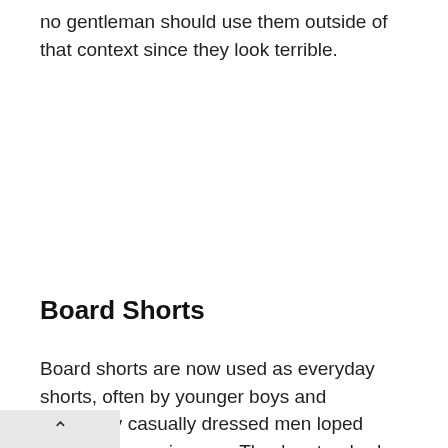no gentleman should use them outside of that context since they look terrible.
Board Shorts
Board shorts are now used as everyday shorts, often by younger boys and extremely casually dressed men loped originally as swimwear. They're standard